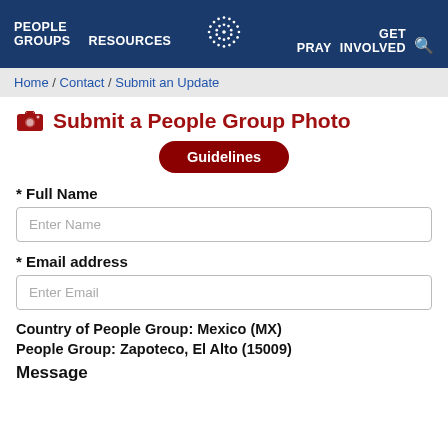PEOPLE GROUPS   RESOURCES   [logo]   PRAY   GET INVOLVED   [search]
Home / Contact / Submit an Update
Submit a People Group Photo
Guidelines
* Full Name
Enter Name
* Email address
Enter Email
Country of People Group:  Mexico (MX)
People Group:  Zapoteco, El Alto (15009)
Message